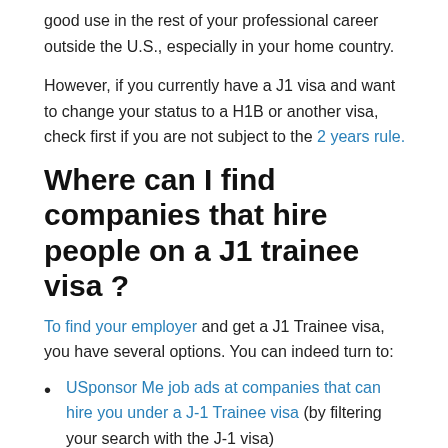good use in the rest of your professional career outside the U.S., especially in your home country.
However, if you currently have a J1 visa and want to change your status to a H1B or another visa, check first if you are not subject to the 2 years rule.
Where can I find companies that hire people on a J1 trainee visa ?
To find your employer and get a J1 Trainee visa, you have several options. You can indeed turn to:
USponsor Me job ads at companies that can hire you under a J-1 Trainee visa (by filtering your search with the J-1 visa)
Companies' lists that show who can hire you under a J-1 visa that you can find here (by filtering your search with the J-1 visa)